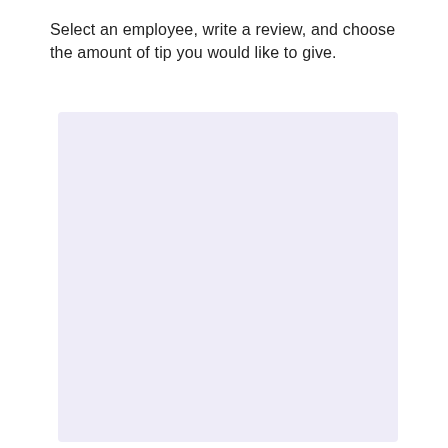Select an employee, write a review, and choose the amount of tip you would like to give.
[Figure (other): A large light lavender/purple empty rectangular card or panel, likely a UI placeholder for employee selection, review, and tip form.]